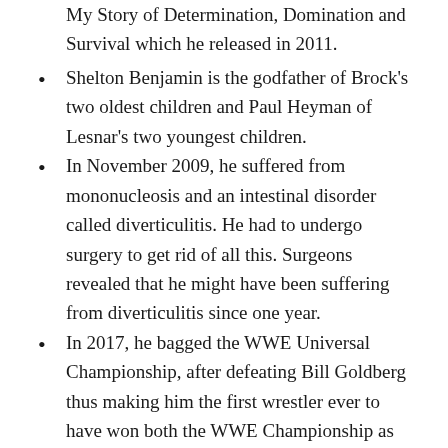My Story of Determination, Domination and Survival which he released in 2011.
Shelton Benjamin is the godfather of Brock's two oldest children and Paul Heyman of Lesnar's two youngest children.
In November 2009, he suffered from mononucleosis and an intestinal disorder called diverticulitis. He had to undergo surgery to get rid of all this. Surgeons revealed that he might have been suffering from diverticulitis since one year.
In 2017, he bagged the WWE Universal Championship, after defeating Bill Goldberg thus making him the first wrestler ever to have won both the WWE Championship as well as the WWE